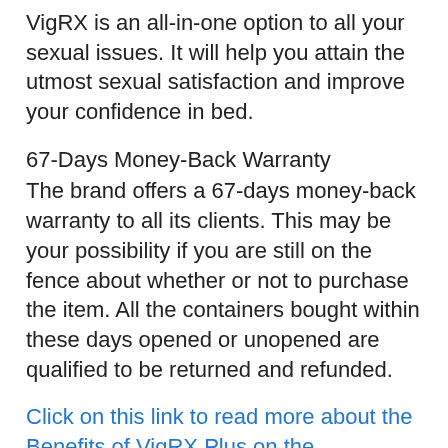VigRX is an all-in-one option to all your sexual issues. It will help you attain the utmost sexual satisfaction and improve your confidence in bed.
67-Days Money-Back Warranty
The brand offers a 67-days money-back warranty to all its clients. This may be your possibility if you are still on the fence about whether or not to purchase the item. All the containers bought within these days opened or unopened are qualified to be returned and refunded.
Click on this link to read more about the Benefits of VigRX Plus on the Authorities Website.